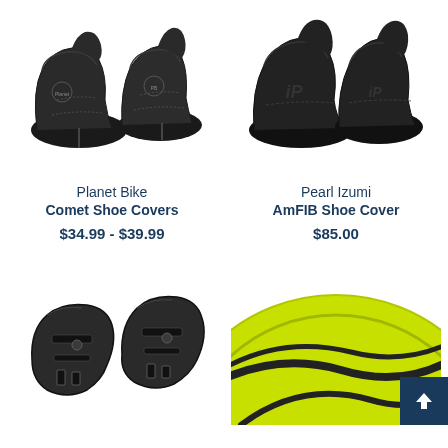[Figure (photo): Planet Bike Comet Shoe Covers - two black neoprene shoe covers]
[Figure (photo): Pearl Izumi AmFIB Shoe Cover - two black neoprene shoe covers with iP logo]
Planet Bike
Comet Shoe Covers
$34.99 - $39.99
Pearl Izumi
AmFIB Shoe Cover
$85.00
[Figure (photo): Black cycling cleats - two black metal cycling shoe cleats]
[Figure (photo): Yellow/green cycling wheel or disc component, partially visible]